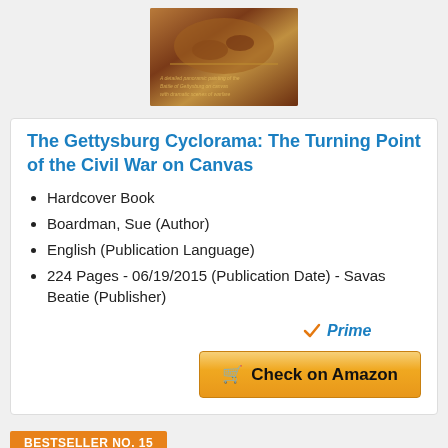[Figure (photo): Book cover image of The Gettysburg Cyclorama showing a battle scene painting in brown/red tones]
The Gettysburg Cyclorama: The Turning Point of the Civil War on Canvas
Hardcover Book
Boardman, Sue (Author)
English (Publication Language)
224 Pages - 06/19/2015 (Publication Date) - Savas Beatie (Publisher)
[Figure (logo): Amazon Prime checkmark badge with text 'Prime' in blue and orange]
Check on Amazon
BESTSELLER NO. 15
[Figure (photo): Partial view of another book cover image in orange/brown tones]